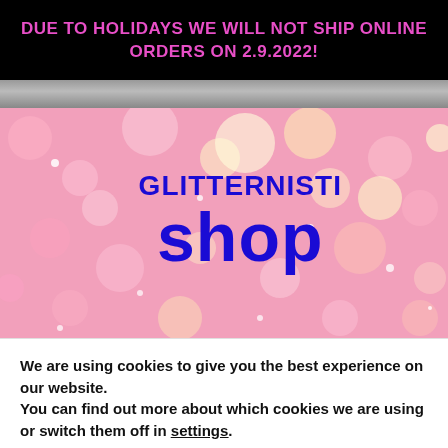DUE TO HOLIDAYS WE WILL NOT SHIP ONLINE ORDERS ON 2.9.2022!
[Figure (photo): Partial photo strip of a person wearing clothing, visible at the top of the page.]
[Figure (logo): Glitternisti shop logo on a pink glitter bokeh background, with 'GLITTERNISTI' in bold blue uppercase text and 'shop' in large bold blue rounded text below.]
We are using cookies to give you the best experience on our website.
You can find out more about which cookies we are using or switch them off in settings.
Accept
Reject